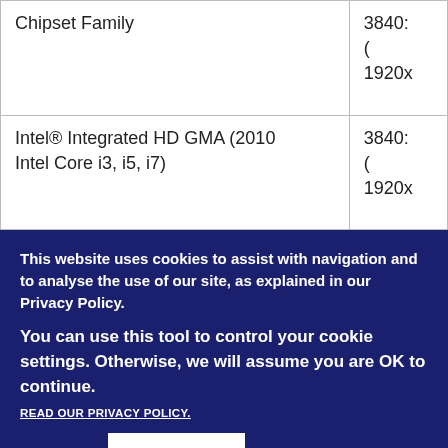| Chipset Family | 3840x
(:)
1920x |
| Intel® Integrated HD GMA (2010 Intel Core i3, i5, i7) | 3840:
(:
1920x |
This website uses cookies to assist with navigation and to analyse the use of our site, as explained in our Privacy Policy.
You can use this tool to control your cookie settings. Otherwise, we will assume you are OK to continue.
READ OUR PRIVACY POLICY.
DECLINE
ACCEPT